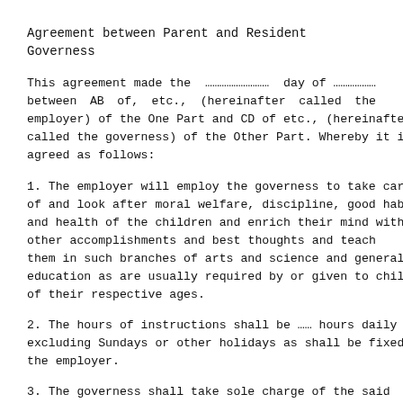Agreement between Parent and Resident Governess
This agreement made the ……………………… day of ……………between AB of, etc., (hereinafter called the employer) of the One Part and CD of etc., (hereinafter called the governess) of the Other Part. Whereby it is agreed as follows:
1. The employer will employ the governess to take care of and look after moral welfare, discipline, good habits and health of the children and enrich their mind with other accomplishments and best thoughts and teach them in such branches of arts and science and general education as are usually required by or given to children of their respective ages.
2. The hours of instructions shall be …… hours daily excluding Sundays or other holidays as shall be fixed by the employer.
3. The governess shall take sole charge of the said children between the hours of ………. and ……………… each day, except during the vacation and impart